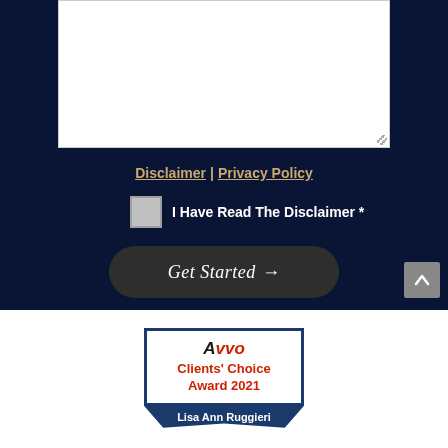[Figure (screenshot): White textarea input box with resize handle in bottom right corner, on dark navy background]
Disclaimer | Privacy Policy
I Have Read The Disclaimer *
Get Started →
[Figure (logo): Avvo Clients' Choice Award 2021 badge with Lisa Ann Ruggieri ribbon on white background]